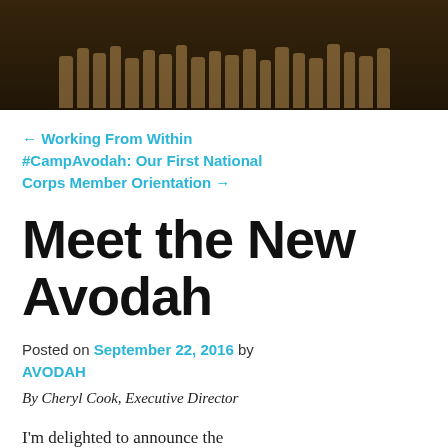[Figure (photo): Dark outdoor night scene showing silhouettes of people standing on grass, with a dark brown/olive background tone.]
← Working From Within #CampAvodah: Our First National Corps Member Orientation →
Meet the New Avodah
Posted on September 22, 2016 by AVODAH
By Cheryl Cook, Executive Director
I'm delighted to announce the launch of our new website and logo.